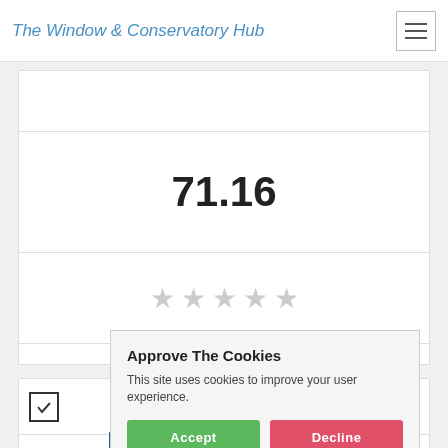The Window & Conservatory Hub
71.16
[Figure (other): Five empty star rating icons in light grey]
Get a Quote
[Figure (other): Anglian Home Improvements logo - blue background with white text and graphic]
Approve The Cookies
This site uses cookies to improve your user experience.
Accept | Decline
Cookie policy